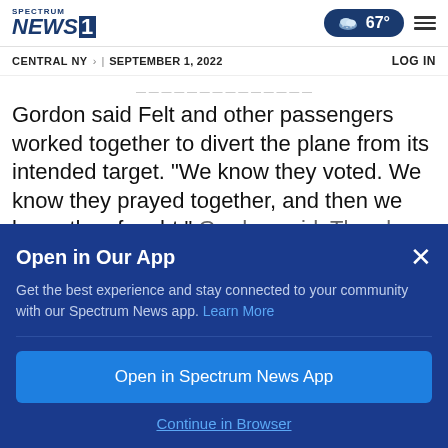SPECTRUM NEWS 1 | CENTRAL NY > | SEPTEMBER 1, 2022 | LOG IN | 67°
Gordon said Felt and other passengers worked together to divert the plane from its intended target. "We know they voted. We know they prayed together, and then we know they fought," Gordon said. The plane crashed in Shanksville
Open in Our App
Get the best experience and stay connected to your community with our Spectrum News app. Learn More
Open in Spectrum News App
Continue in Browser